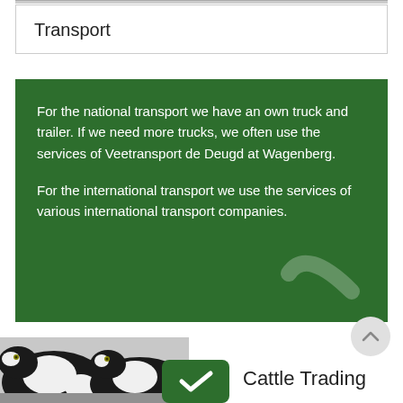Transport
For the national transport we have an own truck and trailer. If we need more trucks, we often use the services of Veetransport de Deugd at Wagenberg.

For the international transport we use the services of various international transport companies.
[Figure (photo): Black and white Holstein dairy cows facing the camera]
Cattle Trading